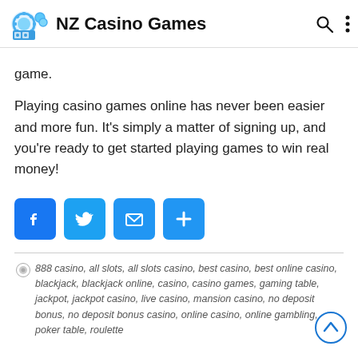NZ Casino Games
game.
Playing casino games online has never been easier and more fun. It's simply a matter of signing up, and you're ready to get started playing games to win real money!
[Figure (infographic): Social share buttons: Facebook, Twitter, Email, and a plus/more button]
888 casino, all slots, all slots casino, best casino, best online casino, blackjack, blackjack online, casino, casino games, gaming table, jackpot, jackpot casino, live casino, mansion casino, no deposit bonus, no deposit bonus casino, online casino, online gambling, poker table, roulette